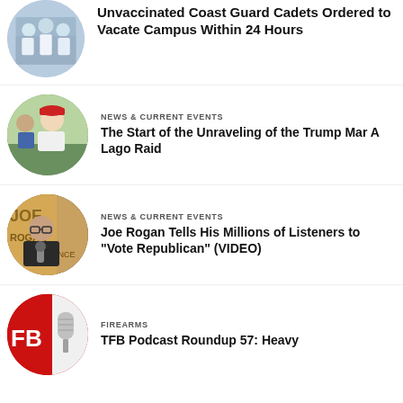[Figure (photo): Circular thumbnail of people in white shirts, crowd scene]
Unvaccinated Coast Guard Cadets Ordered to Vacate Campus Within 24 Hours
[Figure (photo): Circular thumbnail of Donald Trump at an outdoor event wearing a red MAGA hat]
NEWS & CURRENT EVENTS
The Start of the Unraveling of the Trump Mar A Lago Raid
[Figure (photo): Circular thumbnail of Joe Rogan at his podcast microphone in studio]
NEWS & CURRENT EVENTS
Joe Rogan Tells His Millions of Listeners to "Vote Republican" (VIDEO)
[Figure (photo): Circular thumbnail of TFB podcast logo with red and white design and microphone]
FIREARMS
TFB Podcast Roundup 57: Heavy